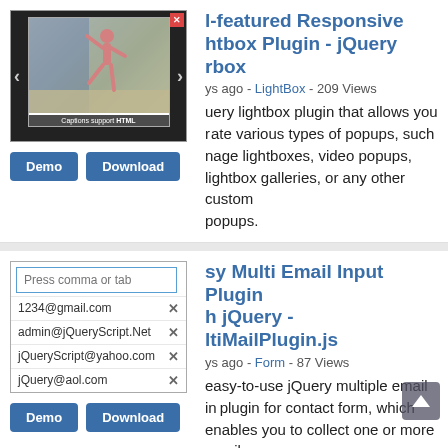[Figure (screenshot): Screenshot of jQuery rbox lightbox plugin showing a dancer image in a lightbox overlay with navigation arrows and HTML caption support]
Full-featured Responsive Lightbox Plugin - jQuery rbox
days ago - LightBox - 209 Views
jQuery lightbox plugin that allows you to create various types of popups, such image lightboxes, video popups, lightbox galleries, or any other custom popups.
[Figure (screenshot): Screenshot of Multi Email Input Plugin showing an email input field with Press comma or tab placeholder and several email entries (1234@gmail.com, admin@jQueryScript.Net, jQueryScript@yahoo.com, jQuery@aol.com) each with an X remove button]
Easy Multi Email Input Plugin with jQuery - MultiMailPlugin.js
days ago - Form - 87 Views
easy-to-use jQuery multiple email input plugin for contact form, which enables you to collect one or more email addresses separated by Comma or